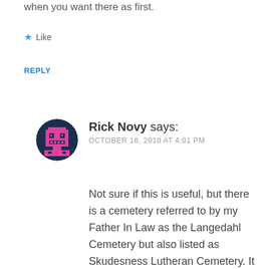when you want there as first.
★ Like
REPLY
Rick Novy says:
OCTOBER 18, 2010 AT 4:01 PM
Not sure if this is useful, but there is a cemetery referred to by my Father In Law as the Langedahl Cemetery but also listed as Skudesness Lutheran Cemetery. It is east of the Arena town sight. This cemetery is just east of the county line between Burleigh